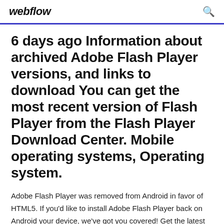webflow
6 days ago Information about archived Adobe Flash Player versions, and links to download You can get the most recent version of Flash Player from the Flash Player Download Center. Mobile operating systems, Operating system.
Adobe Flash Player was removed from Android in favor of HTML5. If you'd like to install Adobe Flash Player back on Android your device, we've got you covered! Get the latest news